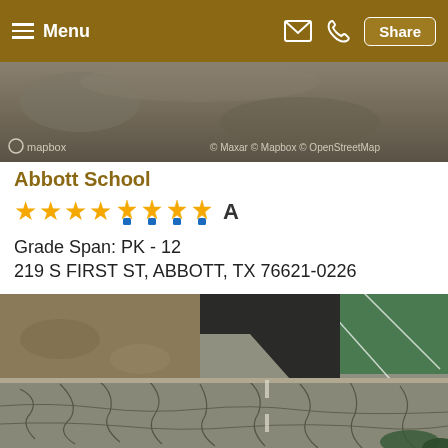Menu  Share
[Figure (map): Aerial/satellite map view with mapbox attribution and © Maxar © Mapbox © OpenStreetMap]
Abbott School
★★★★ 🏅🏅🏅🏅 A
Grade Span: PK - 12
219 S FIRST ST, ABBOTT, TX 76621-0226
[Figure (photo): Aerial satellite view of Abbott School grounds showing a sports field and cracked asphalt parking lot or road surface, viewed from above]